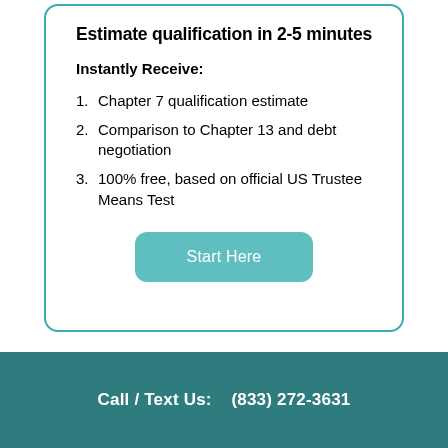Estimate qualification in 2-5 minutes
Instantly Receive:
Chapter 7 qualification estimate
Comparison to Chapter 13 and debt negotiation
100% free, based on official US Trustee Means Test
[Figure (other): Teal rounded-rectangle button labeled 'Start Here']
Call / Text Us:    (833) 272-3631